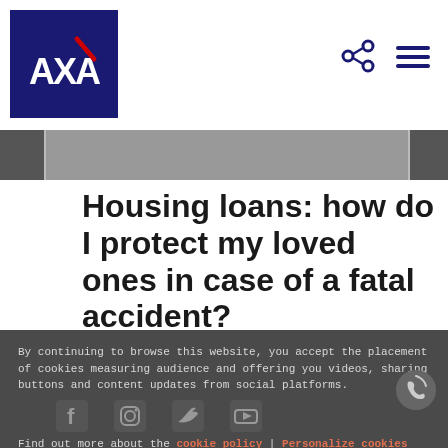[Figure (logo): AXA logo on dark blue background, top left header]
[Figure (other): Share icon and hamburger menu icon in top right header]
[Figure (photo): Partial photo strip with dark images on left and right edges]
Housing loans: how do I protect my loved ones in case of a fatal accident?
By continuing to browse this website, you accept the placement of cookies measuring audience and offering you videos, sharing buttons and content updates from social platforms.
[Figure (other): Social media icons: Facebook, Instagram, Twitter, YouTube]
Find out more about the cookie policy | Personalize cookies
Accept
Only Essential
Privacy Policy © 2022 AXA All Rights Reserved